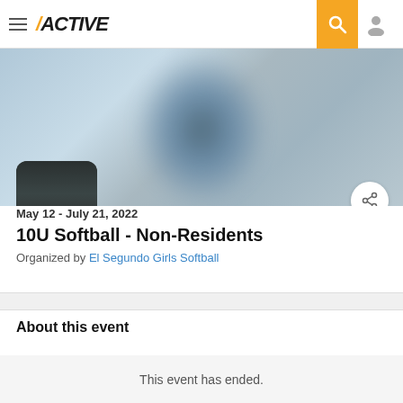[Figure (screenshot): Active.com website navigation bar with hamburger menu, Active logo, search button and user icon]
[Figure (photo): Hero banner image showing blurred softball player in action with blue background; event logo thumbnail showing GUNDO text on dark background]
May 12 - July 21, 2022
10U Softball - Non-Residents
Organized by El Segundo Girls Softball
About this event
This event has ended.